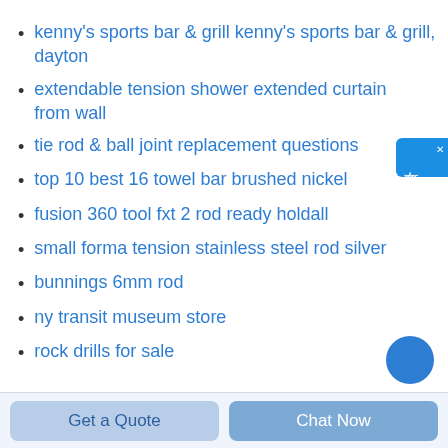kenny's sports bar & grill kenny's sports bar & grill, dayton
extendable tension shower extended curtain from wall
tie rod & ball joint replacement questions
top 10 best 16 towel bar brushed nickel
fusion 360 tool fxt 2 rod ready holdall
small forma tension stainless steel rod silver
bunnings 6mm rod
ny transit museum store
rock drills for sale